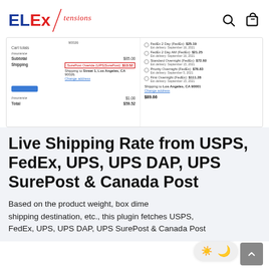ELExtensions
[Figure (screenshot): Screenshot of a WooCommerce cart page showing shipping options including SurePost Overide (UPS|SurePost): $13.52 highlighted in red border, alongside FedEx and UPS shipping options on the right panel. Cart totals show Insurance $1.00, Subtotal $85.00, Shipping selected, Total $59.52 on left. Right side shows FedEx 2 Day AM (FedEx): $21.25, Standard Overnight (FedEx): $72.60, Priority Overnight (FedEx): $78.83, First Overnight (FedEx): $111.28, shipping to Los Angeles, CA 90001, total $89.66.]
Live Shipping Rate from USPS, FedEx, UPS, UPS DAP, UPS SurePost & Canada Post
Based on the product weight, box dimensions, shipping destination, etc., this plugin fetches USPS, FedEx, UPS, UPS DAP, UPS SurePost & Canada Post